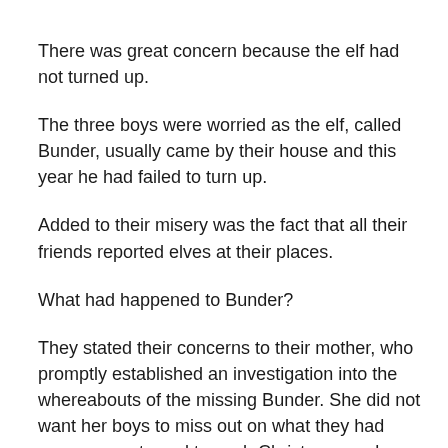There was great concern because the elf had not turned up.
The three boys were worried as the elf, called Bunder, usually came by their house and this year he had failed to turn up.
Added to their misery was the fact that all their friends reported elves at their places.
What had happened to Bunder?
They stated their concerns to their mother, who promptly established an investigation into the whereabouts of the missing Bunder. She did not want her boys to miss out on what they had grown accustomed to each Christmas, and